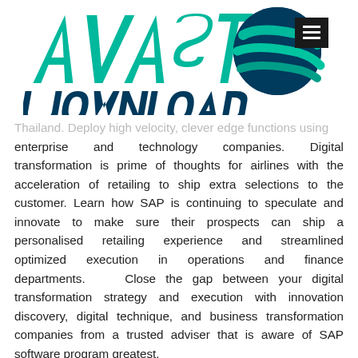[Figure (logo): AVAST DOWNLOAD logo with teal and dark blue stylized text and circular globe graphic, with hamburger menu button in top right]
Thailand. Deploy high velocity, clever edge functions using enterprise and technology companies. Digital transformation is prime of thoughts for airlines with the acceleration of retailing to ship extra selections to the customer. Learn how SAP is continuing to speculate and innovate to make sure their prospects can ship a personalised retailing experience and streamlined optimized execution in operations and finance departments. Close the gap between your digital transformation strategy and execution with innovation discovery, digital technique, and business transformation companies from a trusted adviser that is aware of SAP software program greatest.